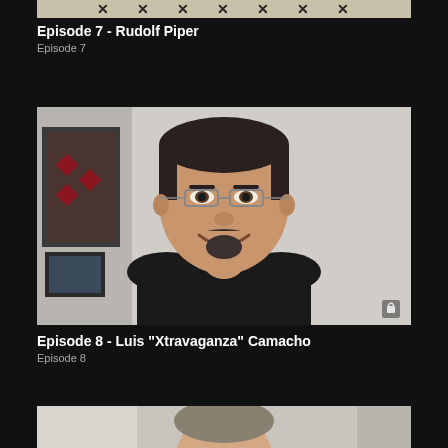[Figure (screenshot): Partial thumbnail of Episode 7 Rudolf Piper video, showing cross/plus marks pattern at top]
Episode 7 - Rudolf Piper
Episode 7
[Figure (photo): Video thumbnail showing a man with glasses, goatee, wearing a black shirt, smiling at camera. Lock icon in bottom right corner. Background shows a framed artwork on the wall.]
Episode 8 - Luis "Xtravaganza" Camacho
Episode 8
[Figure (photo): Partial thumbnail of Episode 9 showing a person, cropped at the bottom of the page]